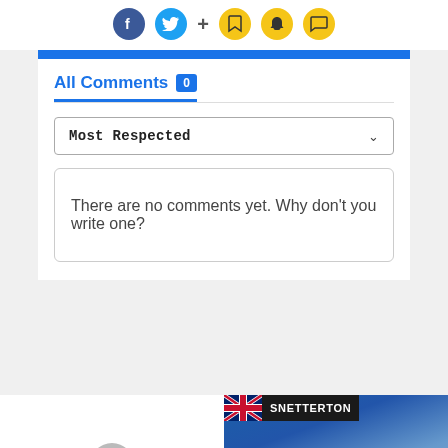[Figure (infographic): Social media share icons: Facebook (blue circle), Twitter (cyan circle), plus sign, bookmark icon (yellow), Snapchat ghost icon (yellow), chat bubble icon (yellow)]
All Comments 0
Most Respected
There are no comments yet. Why don't you write one?
[Figure (photo): Bottom partial cards: left card shows avatar/person silhouette on white background; right card shows SNETTERTON label with UK flag and NAPA racing car photo]
SNETTERTON